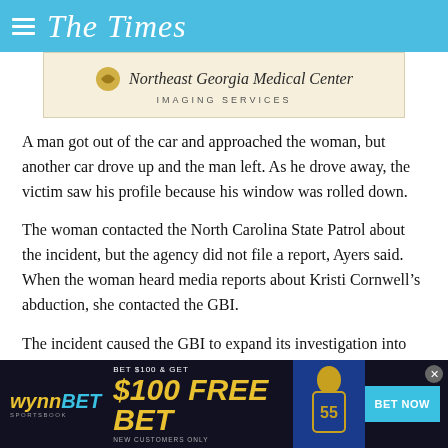The Times
[Figure (logo): Northeast Georgia Medical Center Imaging Services advertisement banner]
A man got out of the car and approached the woman, but another car drove up and the man left. As he drove away, the victim saw his profile because his window was rolled down.
The woman contacted the North Carolina State Patrol about the incident, but the agency did not file a report, Ayers said. When the woman heard media reports about Kristi Cornwell’s abduction, she contacted the GBI.
The incident caused the GBI to expand its investigation into Cornwell’s disappearance to roughly seven counties in North
[Figure (other): WynnBET Sportsbook advertisement - BET $100 & GET $100 FREE BET, NEW CUSTOMERS ONLY, BET NOW button, with football player image]